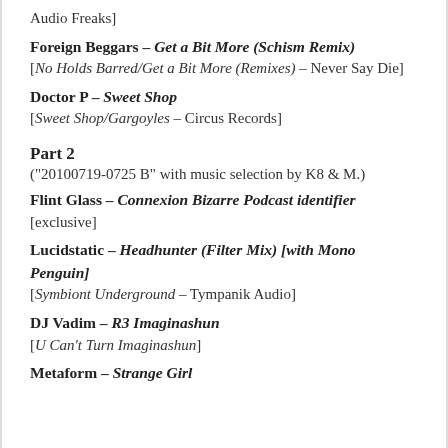Audio Freaks]
Foreign Beggars – Get a Bit More (Schism Remix) [No Holds Barred/Get a Bit More (Remixes) – Never Say Die]
Doctor P – Sweet Shop [Sweet Shop/Gargoyles – Circus Records]
Part 2
("20100719-0725 B" with music selection by K8 & M.)
Flint Glass – Connexion Bizarre Podcast identifier [exclusive]
Lucidstatic – Headhunter (Filter Mix) [with Mono Penguin] [Symbiont Underground – Tympanik Audio]
DJ Vadim – R3 Imaginashun [U Can't Turn Imaginashun]
Metaform – Strange Girl